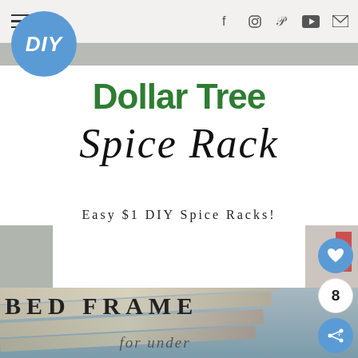DIY blog navigation bar with hamburger menu and social icons (f, instagram, pinterest, youtube, email)
[Figure (logo): Blue circular DIY logo badge]
Dollar Tree Spice Rack
Easy $1 DIY Spice Racks!
[Figure (photo): Photograph of Dollar Tree spice rack DIY project with two thumbnail images on either side]
[Figure (photo): Photograph of bed frame made of wood planks against gray-blue background with text overlay: BED FRAME for under]
BED FRAME for under